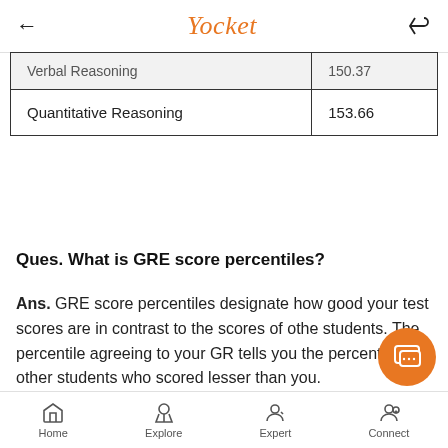Yocket
| Verbal Reasoning | 150.37 |
| Quantitative Reasoning | 153.66 |
Ques. What is GRE score percentiles?
Ans. GRE score percentiles designate how good your test scores are in contrast to the scores of other students. The percentile agreeing to your GRE tells you the percentage of other students who scored lesser than you.